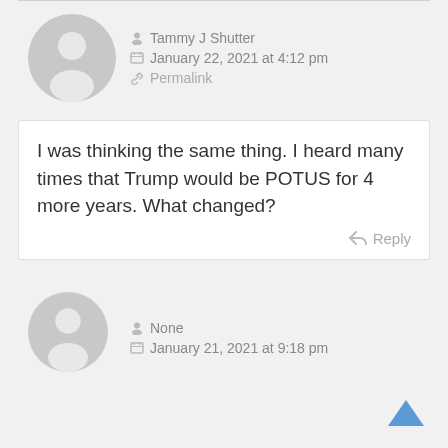[Figure (illustration): Grey default user avatar circle with person silhouette - top comment]
Tammy J Shutter
January 22, 2021 at 4:12 pm
Permalink
I was thinking the same thing. I heard many times that Trump would be POTUS for 4 more years. What changed?
Reply
[Figure (illustration): Grey default user avatar circle with person silhouette - bottom comment]
None
January 21, 2021 at 9:18 pm